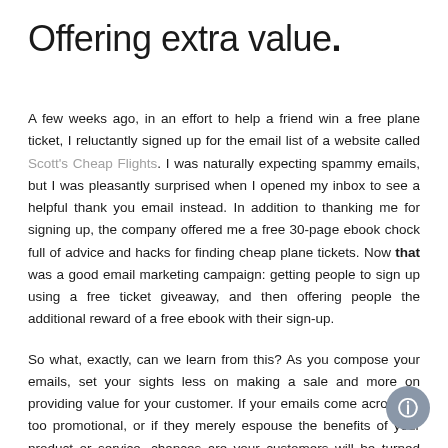Offering extra value.
A few weeks ago, in an effort to help a friend win a free plane ticket, I reluctantly signed up for the email list of a website called Scott's Cheap Flights. I was naturally expecting spammy emails, but I was pleasantly surprised when I opened my inbox to see a helpful thank you email instead. In addition to thanking me for signing up, the company offered me a free 30-page ebook chock full of advice and hacks for finding cheap plane tickets. Now that was a good email marketing campaign: getting people to sign up using a free ticket giveaway, and then offering people the additional reward of a free ebook with their sign-up.
So what, exactly, can we learn from this? As you compose your emails, set your sights less on making a sale and more on providing value for your customer. If your emails come across as too promotional, or if they merely espouse the benefits of your product or service, chances are your customers will be turned away.
The...